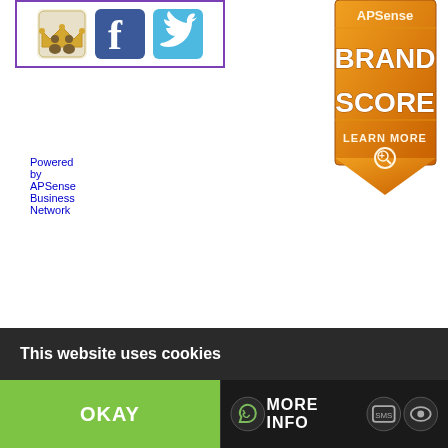[Figure (screenshot): Social media icons (MySpace, Facebook, Twitter) inside a purple-bordered box]
Powered by APSense Business Network
[Figure (illustration): APSense Brand Score badge in orange with LEARN MORE text]
This website uses cookies
OKAY
MORE INFO